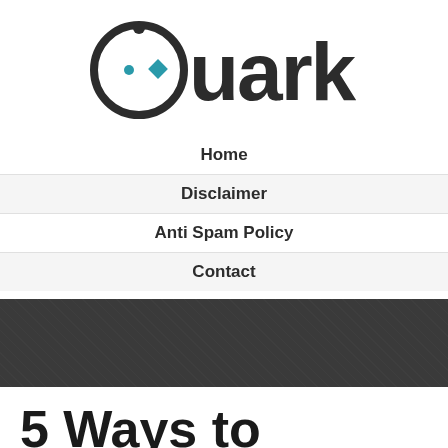[Figure (logo): Quark logo: circular ring with a small circle and teal diamond accent, followed by the text 'Quark' in bold dark sans-serif]
Home
Disclaimer
Anti Spam Policy
Contact
5 Ways to